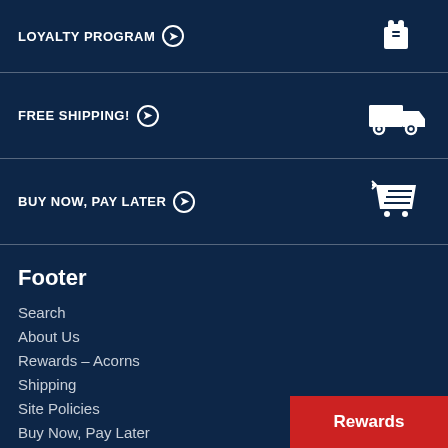LOYALTY PROGRAM →
FREE SHIPPING! →
BUY NOW, PAY LATER →
Footer
Search
About Us
Rewards - Acorns
Shipping
Site Policies
Buy Now, Pay Later
Visit Our Store
Rewards